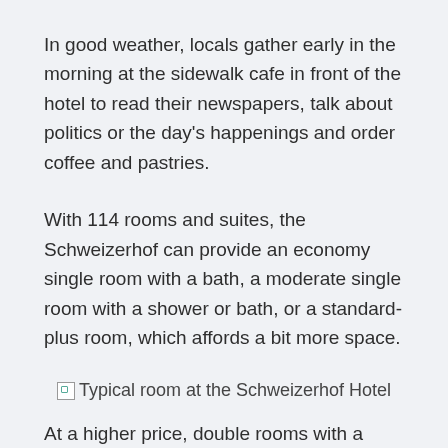In good weather, locals gather early in the morning at the sidewalk cafe in front of the hotel to read their newspapers, talk about politics or the day’s happenings and order coffee and pastries.
With 114 rooms and suites, the Schweizerhof can provide an economy single room with a bath, a moderate single room with a shower or bath, or a standard-plus room, which affords a bit more space.
[Figure (photo): Typical room at the Schweizerhof Hotel (image not loaded, shown as broken image icon with alt text)]
At a higher price, double rooms with a queen